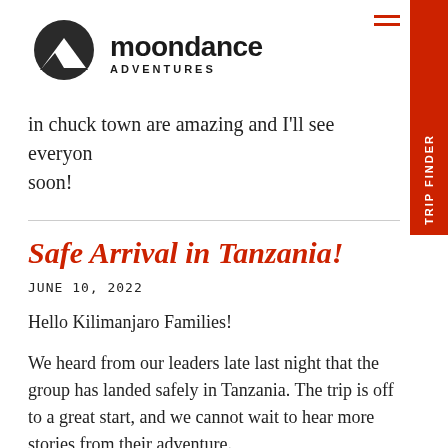[Figure (logo): Moondance Adventures logo with mountain icon and text 'moondance ADVENTURES']
in chuck town are amazing and I'll see everyone soon!
Safe Arrival in Tanzania!
JUNE 10, 2022
Hello Kilimanjaro Families!
We heard from our leaders late last night that the group has landed safely in Tanzania. The trip is off to a great start, and we cannot wait to hear more stories from their adventure.